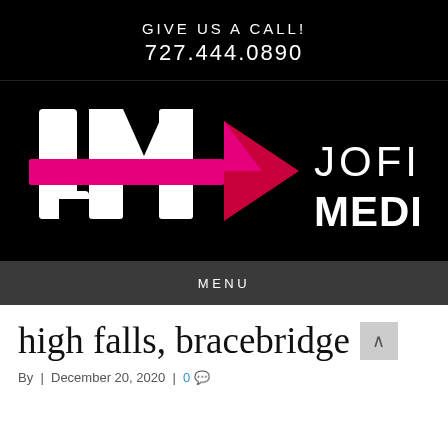GIVE US A CALL!
727.444.0890
[Figure (logo): Jofi Media logo — JM letters with pink/magenta arrow, text 'JOFI MEDIA' in white on black background]
MENU
high falls, bracebridge
By | December 20, 2020 | 0